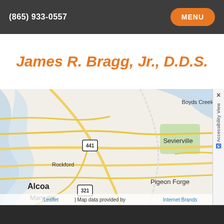(865) 933-0557 | MENU
James R. Bragg, Jr., D.D.S.
[Figure (map): Street map showing area around Sevierville, Tennessee including Boyds Creek, Rockford, Alcoa, Maryville, and Pigeon Forge, with route 441 and 321 marked. Leaflet map with data provided by Internet Brands.]